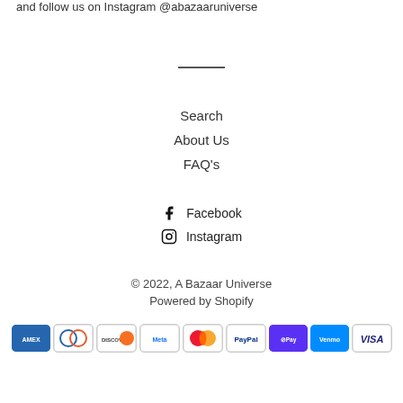and follow us on Instagram @abazaaruniverse
Search
About Us
FAQ's
Facebook
Instagram
© 2022, A Bazaar Universe
Powered by Shopify
[Figure (other): Payment method icons: American Express, Diners Club, Discover, Meta Pay, Mastercard, PayPal, Shop Pay, Venmo, Visa]